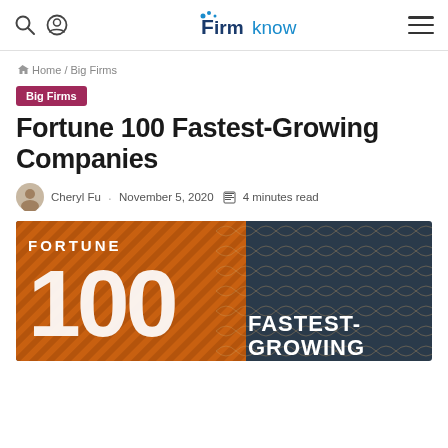FirmKnow — navigation bar with search, account, logo, and menu icons
Home / Big Firms
Big Firms
Fortune 100 Fastest-Growing Companies
Cheryl Fu · November 5, 2020 · 4 minutes read
[Figure (photo): Fortune 100 Fastest-Growing Companies magazine cover image with orange and dark blue swirling design, large white '100' text and 'FASTEST-GROWING' text]